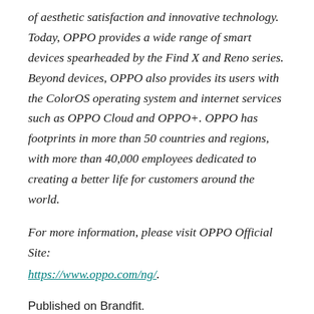of aesthetic satisfaction and innovative technology. Today, OPPO provides a wide range of smart devices spearheaded by the Find X and Reno series. Beyond devices, OPPO also provides its users with the ColorOS operating system and internet services such as OPPO Cloud and OPPO+. OPPO has footprints in more than 50 countries and regions, with more than 40,000 employees dedicated to creating a better life for customers around the world.
For more information, please visit OPPO Official Site: https://www.oppo.com/ng/.
Published on Brandfit.
Also published on